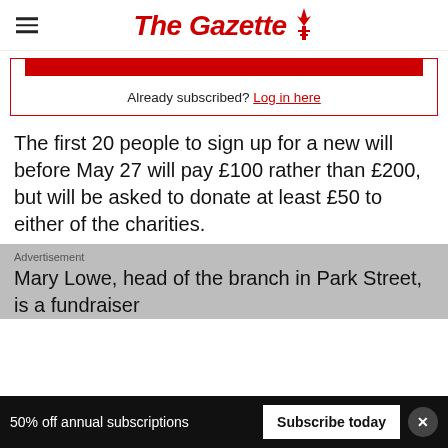The Gazette
Already subscribed? Log in here
The first 20 people to sign up for a new will before May 27 will pay £100 rather than £200, but will be asked to donate at least £50 to either of the charities.
Advertisement
Mary Lowe, head of the branch in Park Street, is a fundraiser
50% off annual subscriptions   Subscribe today